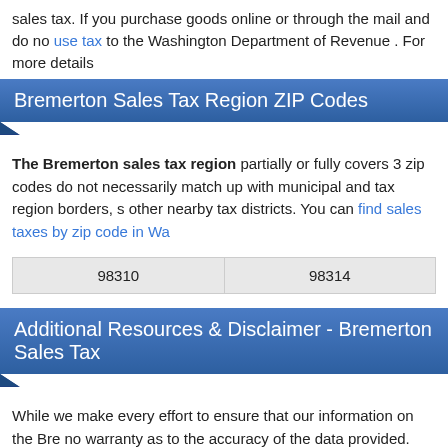sales tax. If you purchase goods online or through the mail and do no use tax to the Washington Department of Revenue . For more details
Bremerton Sales Tax Region ZIP Codes
The Bremerton sales tax region partially or fully covers 3 zip codes do not necessarily match up with municipal and tax region borders, s other nearby tax districts. You can find sales taxes by zip code in Wa
| 98310 | 98314 |
Additional Resources & Disclaimer - Bremerton Sales Tax
While we make every effort to ensure that our information on the Bre no warranty as to the accuracy of the data provided. Please let us kn update our database as soon as possible.
Learn more about the Washington sales tax
View Washington sales taxes by county
Bremerton sales tax rate map (by SalesTaxHandbook)